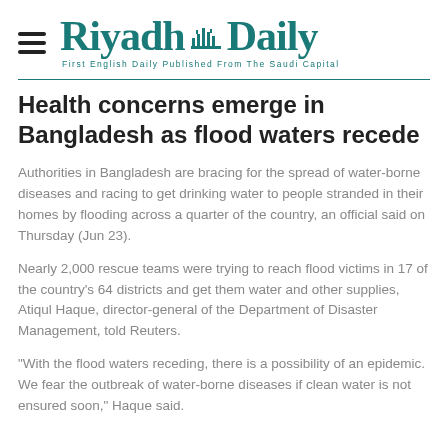Riyadh Daily — First English Daily Published From The Saudi Capital
Health concerns emerge in Bangladesh as flood waters recede
Authorities in Bangladesh are bracing for the spread of water-borne diseases and racing to get drinking water to people stranded in their homes by flooding across a quarter of the country, an official said on Thursday (Jun 23).
Nearly 2,000 rescue teams were trying to reach flood victims in 17 of the country's 64 districts and get them water and other supplies, Atiqul Haque, director-general of the Department of Disaster Management, told Reuters.
"With the flood waters receding, there is a possibility of an epidemic. We fear the outbreak of water-borne diseases if clean water is not ensured soon," Haque said.